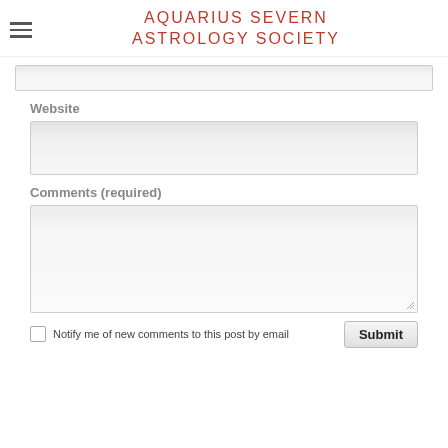AQUARIUS SEVERN ASTROLOGY SOCIETY
[Figure (screenshot): A web form with a text input at top (partially visible), a Website label with text input, a Comments (required) label with textarea, a checkbox for email notifications, and a Submit button.]
Website
Comments (required)
Notify me of new comments to this post by email